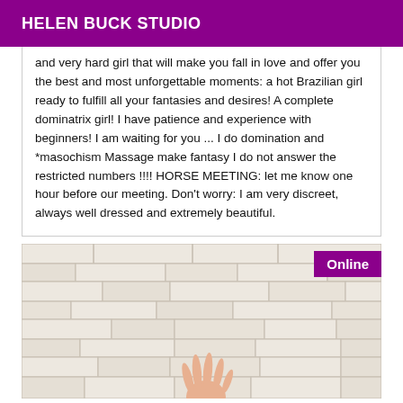HELEN BUCK STUDIO
and very hard girl that will make you fall in love and offer you the best and most unforgettable moments: a hot Brazilian girl ready to fulfill all your fantasies and desires! A complete dominatrix girl! I have patience and experience with beginners! I am waiting for you ... I do domination and *masochism Massage make fantasy I do not answer the restricted numbers !!!! HORSE MEETING: let me know one hour before our meeting. Don't worry: I am very discreet, always well dressed and extremely beautiful.
[Figure (photo): Photo of a brick/stone wall texture with a hand visible at the bottom center, and a purple 'Online' badge in the top right corner]